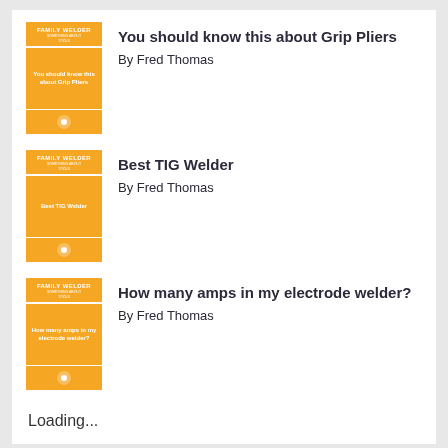[Figure (illustration): Book cover thumbnail for 'You should know this about Grip Pliers' - orange cover with white text and icon]
You should know this about Grip Pliers
By Fred Thomas
[Figure (illustration): Book cover thumbnail for 'Best TIG Welder' - orange cover with white text and icon]
Best TIG Welder
By Fred Thomas
[Figure (illustration): Book cover thumbnail for 'How many amps in my electrode welder?' - orange cover with white text and icon]
How many amps in my electrode welder?
By Fred Thomas
Loading...